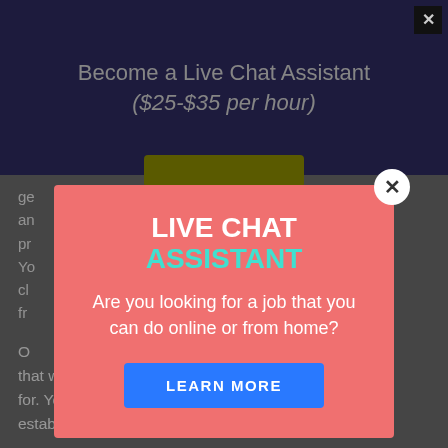Become a Live Chat Assistant ($25-$35 per hour)
ge... an... pr... Yo... cl... fr...
[Figure (screenshot): Modal popup with salmon/coral background. Headline reads LIVE CHAT ASSISTANT (white and teal). Subtext: Are you looking for a job that you can do online or from home? Blue LEARN MORE button. White circle X close button top right of modal.]
O... that would benefit the company you are working for. You can speak to the business and help them establish it into a business opportunity for you.